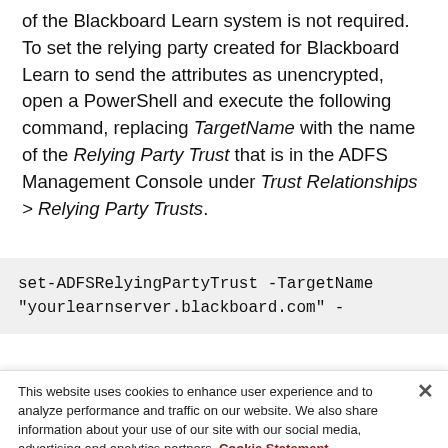of the Blackboard Learn system is not required. To set the relying party created for Blackboard Learn to send the attributes as unencrypted, open a PowerShell and execute the following command, replacing TargetName with the name of the Relying Party Trust that is in the ADFS Management Console under Trust Relationships > Relying Party Trusts.
set-ADFSRelyingPartyTrust -TargetName "yourlearnserver.blackboard.com" -
This website uses cookies to enhance user experience and to analyze performance and traffic on our website. We also share information about your use of our site with our social media, advertising and analytics partners. Cookie Statement
Do Not Sell My Personal Information
Accept Cookies